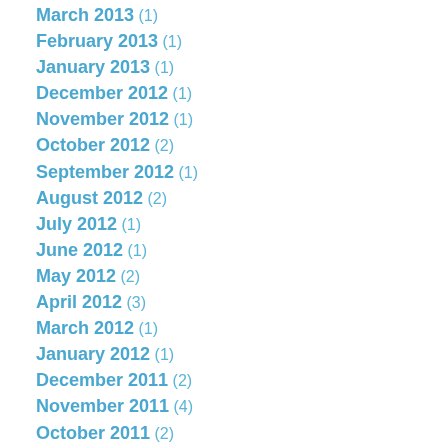March 2013 (1)
February 2013 (1)
January 2013 (1)
December 2012 (1)
November 2012 (1)
October 2012 (2)
September 2012 (1)
August 2012 (2)
July 2012 (1)
June 2012 (1)
May 2012 (2)
April 2012 (3)
March 2012 (1)
January 2012 (1)
December 2011 (2)
November 2011 (4)
October 2011 (2)
September 2011 (6)
August 2011 (4)
July 2011 (6)